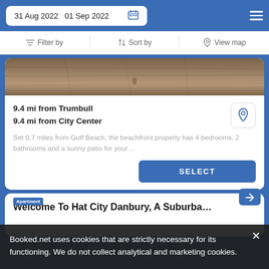31 Aug 2022   01 Sep 2022
Filter by | Sort by | View map
[Figure (photo): Beach sand aerial photo used as property listing header image]
9.4 mi from Trumbull
9.4 mi from City Center
Set 0.7 miles from Gulf Beach, the beachfront property has 4 bedrooms, 2 bathrooms and a sunny patio for your…
SELECT
Welcome To Hat City Danbury, A Suburba…
Booked.net uses cookies that are strictly necessary for its functioning. We do not collect analytical and marketing cookies.